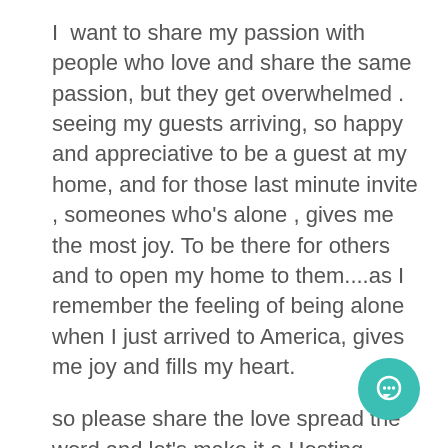I  want to share my passion with people who love and share the same passion, but they get overwhelmed . seeing my guests arriving, so happy and appreciative to be a guest at my home, and for those last minute invite , someones who's alone , gives me the most joy. To be there for others and to open my home to them....as I remember the feeling of being alone when I just arrived to America, gives me joy and fills my heart.

so please share the love spread the word and let's make it a Hosting Revolution a thing.
if you'd like to be a part of The Confident Host
[Figure (other): Teal/green circular chat button with white speech bubble icon, positioned bottom-right]